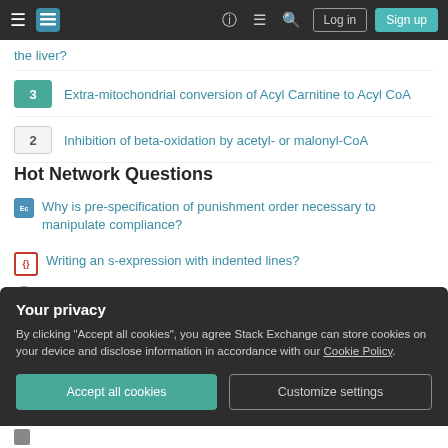Stack Exchange navigation bar with Log in and Sign up buttons
the liver?
3 Extra-mitochondrial conversion of Acyl Carnitine to Acyl CoA
2 Inhibition of beta-oxidation by acetyl- or malonyl-CoA
Hot Network Questions
Why is pre-specification of punishment order necessary to manipulate compliance?
Writing an s-expression with indented lines?
How could peasants protest against superhuman kings?
Is elven immortality in middle earth tied to the elven rings of power?
Your privacy
By clicking "Accept all cookies", you agree Stack Exchange can store cookies on your device and disclose information in accordance with our Cookie Policy.
Accept all cookies  Customize settings